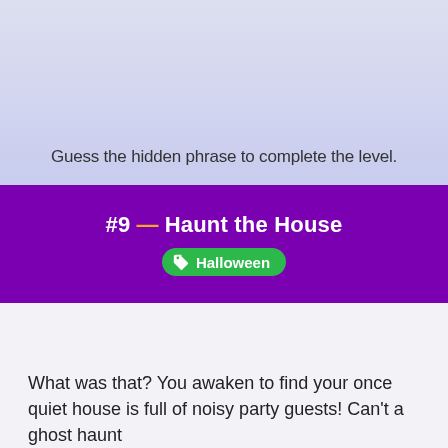Guess the hidden phrase to complete the level.
#9 — Haunt the House
Halloween
What was that? You awaken to find your once quiet house is full of noisy party guests! Can't a ghost haunt